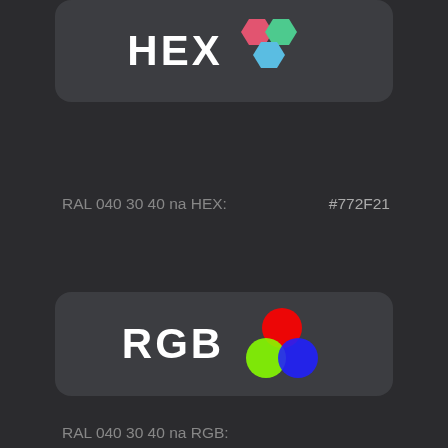[Figure (logo): HEX logo card with colorful hexagon icons on dark background]
RAL 040 30 40 na HEX:
#772F21
[Figure (logo): RGB logo card with RGB color mixing circles on dark background]
RAL 040 30 40 na RGB:
Red:
119 (47%)
Green:
47 (18%)
Blue:
33 (13%)